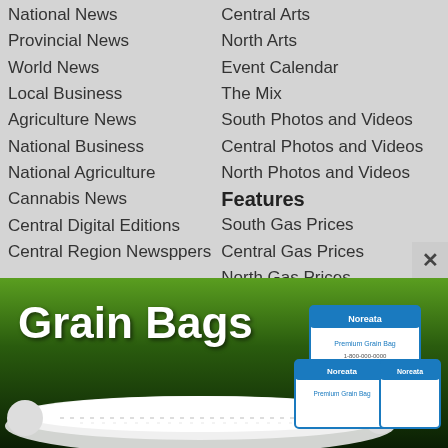National News
Provincial News
World News
Local Business
Agriculture News
National Business
National Agriculture
Cannabis News
Central Digital Editions
Central Region Newsppers
Central Arts
North Arts
Event Calendar
The Mix
South Photos and Videos
Central Photos and Videos
North Photos and Videos
Features
South Gas Prices
Central Gas Prices
North Gas Prices
StandOUT
Classifieds
Obituaries
Obituaries
Weyburn Funeral
[Figure (illustration): Grain Bags advertisement banner showing a large white grain bag on the ground and stacked Noreata product boxes on the right, with green gradient background and white bold text 'Grain Bags']